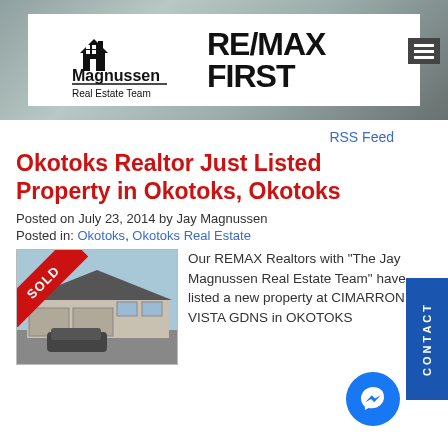[Figure (logo): Magnussen Real Estate Team and RE/MAX FIRST logo on white background]
RSS Feed
Okotoks Realtor Just Listed Property in Okotoks, Okotoks
Posted on July 23, 2014 by Jay Magnussen
Posted in: Okotoks, Okotoks Real Estate
[Figure (photo): House exterior photo with SOLD ribbon banner in red]
Our REMAX Realtors with "The Jay Magnussen Real Estate Team" have listed a new property at CIMARRON VISTA GDNS in OKOTOKS